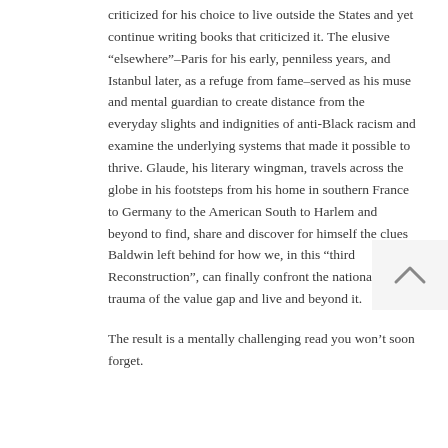criticized for his choice to live outside the States and yet continue writing books that criticized it. The elusive “elsewhere”–Paris for his early, penniless years, and Istanbul later, as a refuge from fame–served as his muse and mental guardian to create distance from the everyday slights and indignities of anti-Black racism and examine the underlying systems that made it possible to thrive. Glaude, his literary wingman, travels across the globe in his footsteps from his home in southern France to Germany to the American South to Harlem and beyond to find, share and discover for himself the clues Baldwin left behind for how we, in this “third Reconstruction”, can finally confront the national trauma of the value gap and live and beyond it.
The result is a mentally challenging read you won’t soon forget.